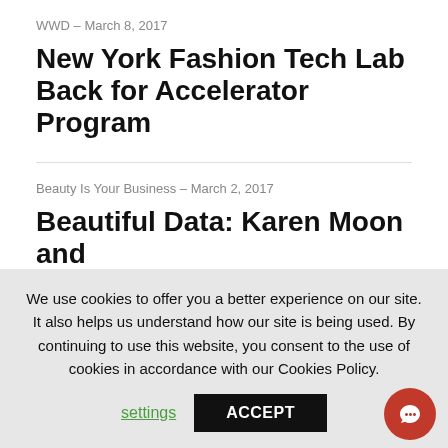WWD – March 8, 2017
New York Fashion Tech Lab Back for Accelerator Program
Beauty Is Your Business – March 2, 2017
Beautiful Data: Karen Moon and
We use cookies to offer you a better experience on our site. It also helps us understand how our site is being used. By continuing to use this website, you consent to the use of cookies in accordance with our Cookies Policy.